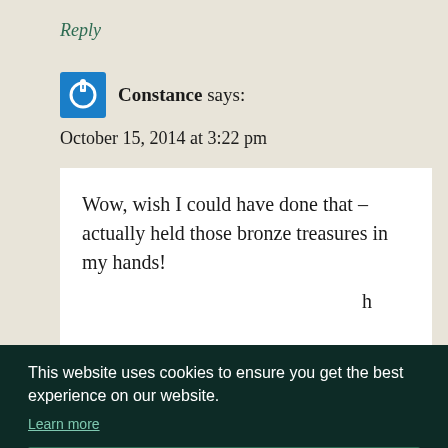Reply
Constance says:
October 15, 2014 at 3:22 pm
Wow, wish I could have done that – actually held those bronze treasures in my hands!
This website uses cookies to ensure you get the best experience on our website.
Learn more
Got it!
Damn the Bard says: